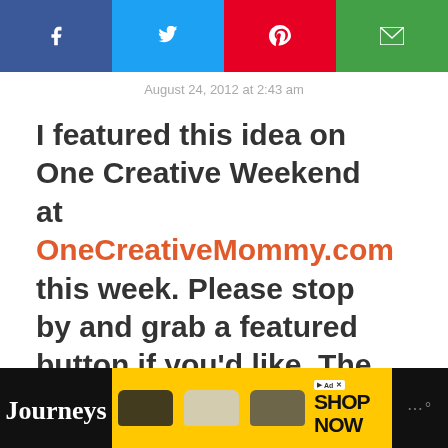[Figure (screenshot): Social media sharing bar with Facebook (blue), Twitter (cyan), Pinterest (red), Email (green) buttons]
August 24, 2012 at 2:43 am
I featured this idea on One Creative Weekend at OneCreativeMommy.com this week. Please stop by and grab a featured button if you'd like. The party is open!
REPLY
[Figure (screenshot): WHAT'S NEXT widget with food photo and text: Pepperoni Pizza Grilled...]
[Figure (screenshot): Advertisement bar: Journeys shoes ad with SHOP NOW]